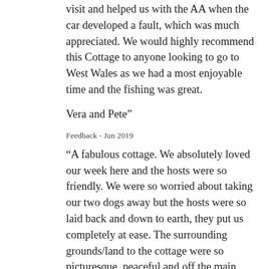visit and helped us with the AA when the car developed a fault, which was much appreciated. We would highly recommend this Cottage to anyone looking to go to West Wales as we had a most enjoyable time and the fishing was great.
Vera and Pete"
Feedback - Jun 2019
“A fabulous cottage. We absolutely loved our week here and the hosts were so friendly. We were so worried about taking our two dogs away but the hosts were so laid back and down to earth, they put us completely at ease. The surrounding grounds/land to the cottage were so picturesque, peaceful and off the main roads but central for visiting Saundersfoot, Tenby, Amroth & Wisemans Bridge area. The local pub 'The Plash' sells reasonably priced meals Definitely recommend, we will be going back. Thank you Peter and Marilyn.”
Feedback - Apr 2019
“We have stayed in a number of cottages in the area and Latchygors is the most comfortable and cleanest